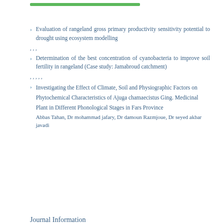Evaluation of rangeland gross primary productivity sensitivity potential to drought using ecosystem modelling
, , ,
Determination of the best concentration of cyanobacteria to improve soil fertility in rangeland (Case study: Jamabroud catchment)
, , , , ,
Investigating the Effect of Climate, Soil and Physiographic Factors on Phytochemical Characteristics of Ajuga chamaecistus Ging. Medicinal Plant in Different Phonological Stages in Fars Province
Abbas Tahan, Dr mohammad jafary, Dr damoun Razmjoue, Dr seyed akbar javadi
Journal Information